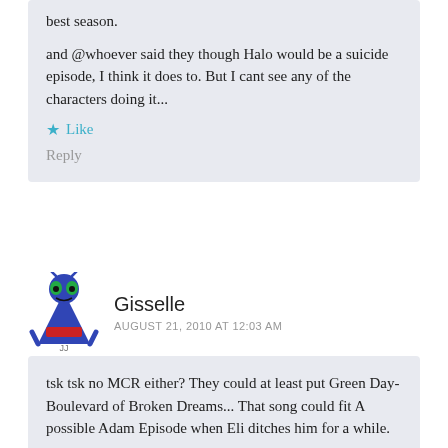best season.
and @whoever said they though Halo would be a suicide episode, I think it does to. But I cant see any of the characters doing it...
Like
Reply
[Figure (illustration): Avatar icon: cartoon alien-like character in blue with green eyes and red belt]
Gisselle
AUGUST 21, 2010 AT 12:03 AM
tsk tsk no MCR either? They could at least put Green Day- Boulevard of Broken Dreams... That song could fit A possible Adam Episode when Eli ditches him for a while.